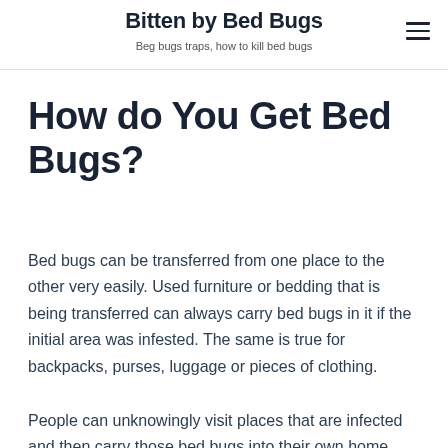Bitten by Bed Bugs
Beg bugs traps, how to kill bed bugs
How do You Get Bed Bugs?
Bed bugs can be transferred from one place to the other very easily. Used furniture or bedding that is being transferred can always carry bed bugs in it if the initial area was infested. The same is true for backpacks, purses, luggage or pieces of clothing.
People can unknowingly visit places that are infected and then carry those bed bugs into their own home